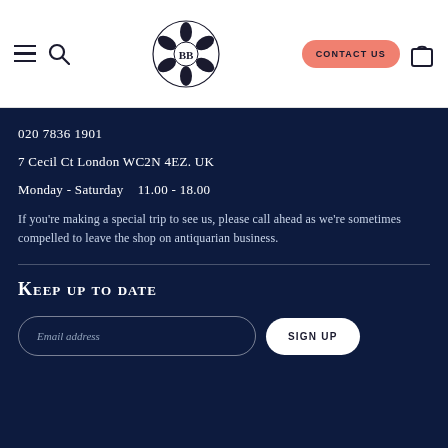BB logo | CONTACT US | navigation bar
020 7836 1901
7 Cecil Ct London WC2N 4EZ. UK
Monday - Saturday    11.00 - 18.00
If you're making a special trip to see us, please call ahead as we're sometimes compelled to leave the shop on antiquarian business.
Keep up to date
Email address | SIGN UP